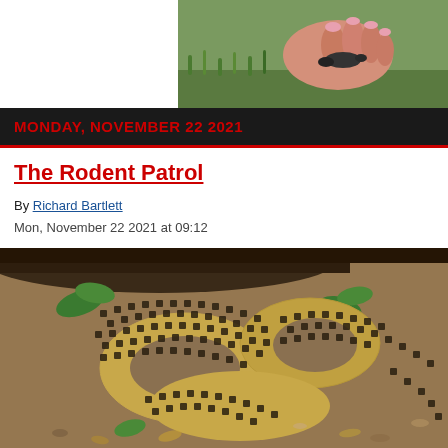[Figure (photo): Small animal (lizard or reptile) being held in a hand over grass, partially visible in top-right corner]
MONDAY, NOVEMBER 22 2021
The Rodent Patrol
By Richard Bartlett
Mon, November 22 2021 at 09:12
[Figure (photo): A large coiled snake with distinctive checkerboard/keeled scale pattern in tan and black, resting on ground with leaves and wood]